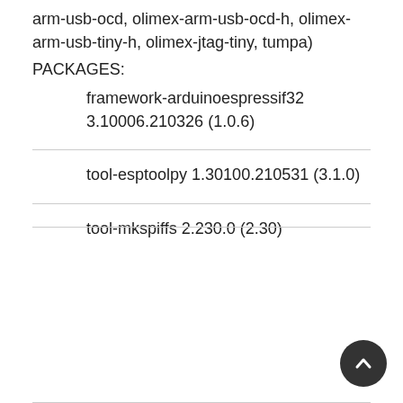arm-usb-ocd, olimex-arm-usb-ocd-h, olimex-arm-usb-tiny-h, olimex-jtag-tiny, tumpa)
PACKAGES:
framework-arduinoespressif32 3.10006.210326 (1.0.6)
tool-esptoolpy 1.30100.210531 (3.1.0)
tool-mkspiffs 2.230.0 (2.30)